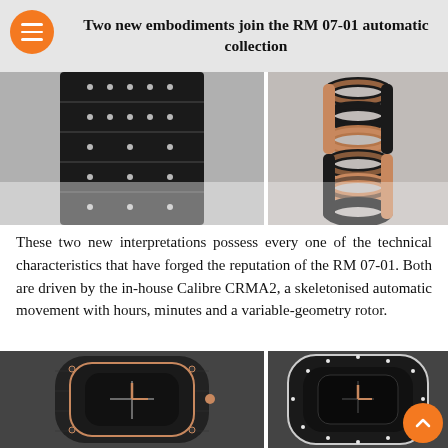Two new embodiments join the RM 07-01 automatic collection
[Figure (photo): Close-up of a black diamond-set watch strap/bracelet on white background]
[Figure (photo): Close-up of a black and rose gold interlinked chain watch bracelet on white background]
These two new interpretations possess every one of the technical characteristics that have forged the reputation of the RM 07-01. Both are driven by the in-house Calibre CRMA2, a skeletonised automatic movement with hours, minutes and a variable-geometry rotor.
[Figure (photo): Richard Mille RM 07-01 watch with black carbon case and rose gold details, front view]
[Figure (photo): Richard Mille RM 07-01 watch with black diamond-set case and rose gold hands, front view]